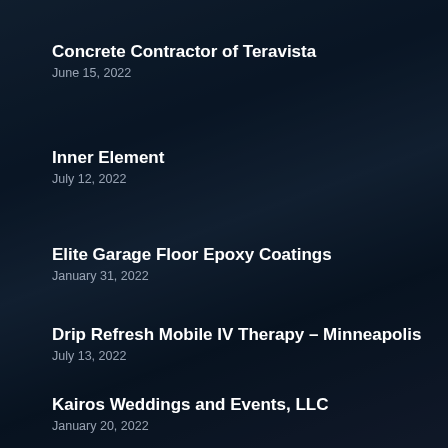Concrete Contractor of Teravista
June 15, 2022
Inner Element
July 12, 2022
Elite Garage Floor Epoxy Coatings
January 31, 2022
Drip Refresh Mobile IV Therapy – Minneapolis
July 13, 2022
Kairos Weddings and Events, LLC
January 20, 2022